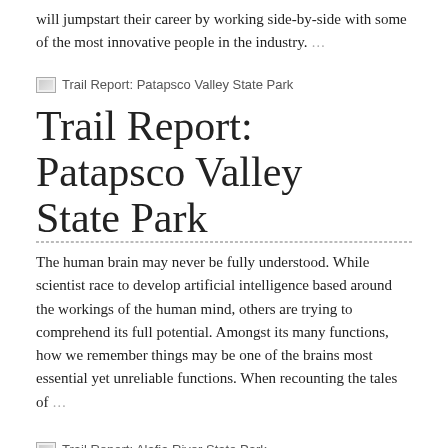will jumpstart their career by working side-by-side with some of the most innovative people in the industry. …
[Figure (other): Thumbnail image for Trail Report: Patapsco Valley State Park]
Trail Report: Patapsco Valley State Park
The human brain may never be fully understood. While scientist race to develop artificial intelligence based around the workings of the human mind, others are trying to comprehend its full potential. Amongst its many functions, how we remember things may be one of the brains most essential yet unreliable functions. When recounting the tales of …
[Figure (other): Thumbnail image for Trail Report: Alafia River State Park]
Trail Report: Alafia River State Park